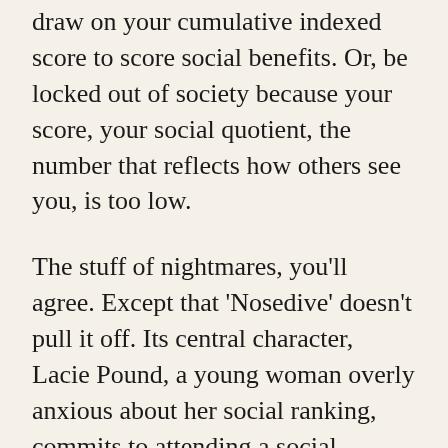draw on your cumulative indexed score to score social benefits. Or, be locked out of society because your score, your social quotient, the number that reflects how others see you, is too low.
The stuff of nightmares, you'll agree. Except that 'Nosedive' doesn't pull it off. Its central character, Lacie Pound, a young woman overly anxious about her social ranking, commits to attending a social encounter that will hopefully raise her social quotient, thus enabling her to qualify for a loan discount and a dream apartment; but the journey to that encounter, and her actual presence there, is a catastrophe that has exactly the opposite effect. In the hands of the right director and writer this could